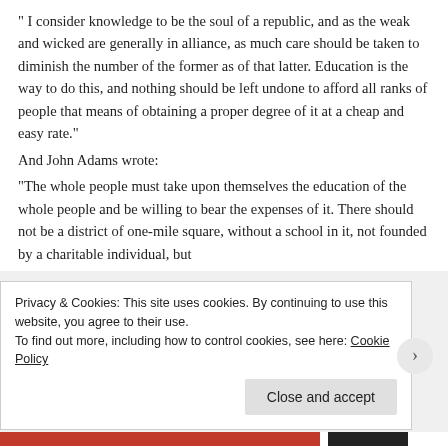“ I consider knowledge to be the soul of a republic, and as the weak and wicked are generally in alliance, as much care should be taken to diminish the number of the former as of that latter. Education is the way to do this, and nothing should be left undone to afford all ranks of people that means of obtaining a proper degree of it at a cheap and easy rate.”
And John Adams wrote:
“The whole people must take upon themselves the education of the whole people and be willing to bear the expenses of it. There should not be a district of one-mile square, without a school in it, not founded by a charitable individual, but
Privacy & Cookies: This site uses cookies. By continuing to use this website, you agree to their use.
To find out more, including how to control cookies, see here: Cookie Policy
Close and accept